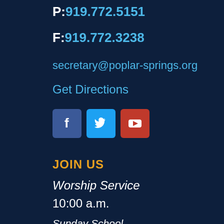P: 919.772.5151
F: 919.772.3238
secretary@poplar-springs.org
Get Directions
[Figure (infographic): Social media icons: Facebook (blue square with f), Twitter (light blue square with bird), YouTube (red square with play button)]
JOIN US
Worship Service
10:00 a.m.
Sunday School
9:00 a.m.
Wednesday Bible Study